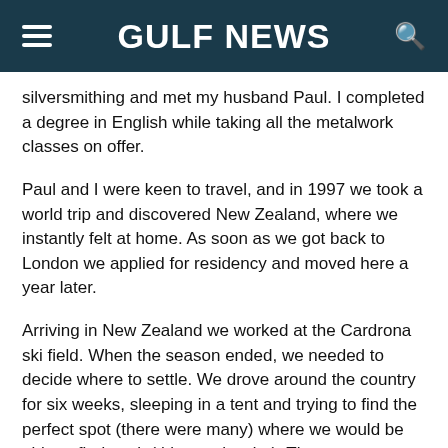Gulf News
silversmithing and met my husband Paul. I completed a degree in English while taking all the metalwork classes on offer.
Paul and I were keen to travel, and in 1997 we took a world trip and discovered New Zealand, where we instantly felt at home. As soon as we got back to London we applied for residency and moved here a year later.
Arriving in New Zealand we worked at the Cardrona ski field. When the season ended, we needed to decide where to settle. We drove around the country for six weeks, sleeping in a tent and trying to find the perfect spot (there were many) where we would be able to find work (this was harder). Then one morning, unzipping our tent beside the sea at Whakanewha, we realised that we had found it.
I...